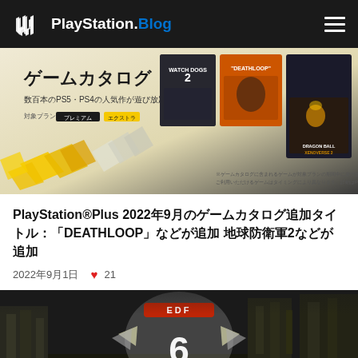PlayStation.Blog
[Figure (screenshot): PlayStation Plus game catalog promotional banner featuring Watch Dogs 2, DEATHLOOP, and Dragon Ball Xenoverse 2 game covers with Japanese text ゲームカタログ and 数百本のPS5・PS4の人気作が遊び放題]
PlayStation®Plus 2022年9月のゲームカタログ：「DEATHLOOP」などが追加 地球防衛軍2などが追加
2022年9月1日  ♥ 21
[Figure (screenshot): Earth Defense Force 6 (地球防衛軍6) promotional image showing destroyed cityscape with the EDF 6 logo prominently displayed]